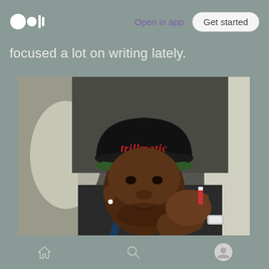Open in app | Get started
focused a lot on writing lately.
[Figure (photo): A young Black man taking a selfie in a car, wearing a black snapback cap with 'trillmatic' written in red gothic-style lettering with a green underbrim, resting his chin/cheek on his fist, wearing a watch.]
Bottom navigation bar with home, search, and profile icons